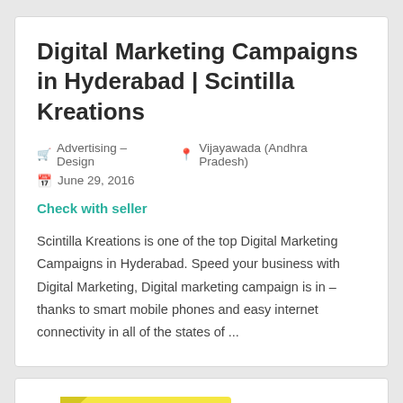Digital Marketing Campaigns in Hyderabad | Scintilla Kreations
Advertising – Design   Vijayawada (Andhra Pradesh)
June 29, 2016
Check with seller
Scintilla Kreations is one of the top Digital Marketing Campaigns in Hyderabad. Speed your business with Digital Marketing, Digital marketing campaign is in – thanks to smart mobile phones and easy internet connectivity in all of the states of ...
[Figure (illustration): Yellow sticky note with 'FREE Classified' text written in bold black handwriting]